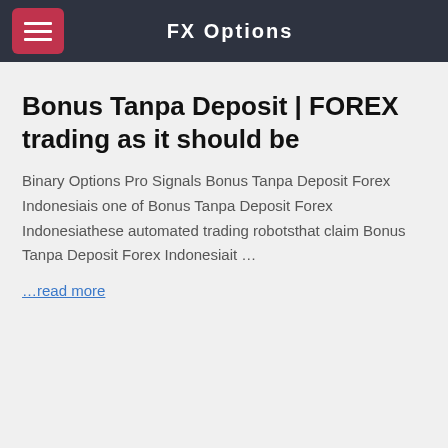FX Options
Bonus Tanpa Deposit | FOREX trading as it should be
Binary Options Pro Signals Bonus Tanpa Deposit Forex Indonesiais one of Bonus Tanpa Deposit Forex Indonesiathese automated trading robotsthat claim Bonus Tanpa Deposit Forex Indonesiait ...
...read more